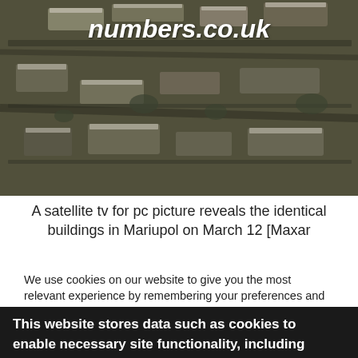[Figure (photo): Aerial/satellite image of destroyed or damaged buildings in Mariupol, Ukraine, showing a bird's-eye view of an urban area with bombed-out structures. Taken March 12 by Maxar.]
numbers.co.uk
A satellite tv for pc picture reveals the identical buildings in Mariupol on March 12 [Maxar
We use cookies on our website to give you the most relevant experience by remembering your preferences and repeat visits. By clicking "Accept All", you consent to the use of ALL the cookies. However, you may visit "Cookie Settings" to provide a controlled consent.
This website stores data such as cookies to enable necessary site functionality, including analytics, targeting, and personalization. By remaining on this website you indicate your consent Cookie Policy